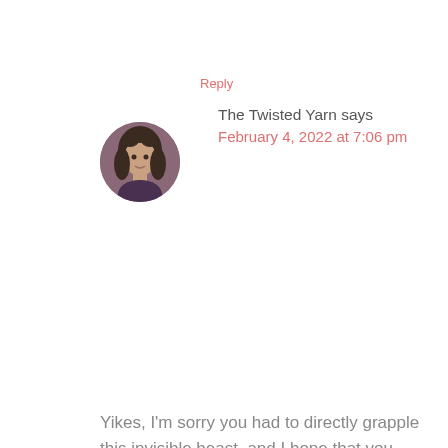Reply
The Twisted Yarn says
February 4, 2022 at 7:06 pm
Yikes, I'm sorry you had to directly grapple this invisible beast, and I hope that you really are feeling properly better. 'Ghost' is a good descriptor for this horrid thing.
Also, thank you for saying kind things, but please erase all positive impressions from your mind because I'm horrid, really.